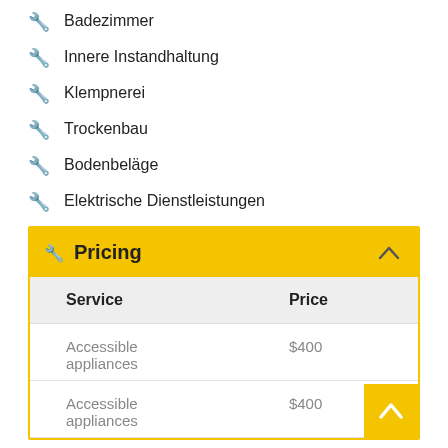Badezimmer
Innere Instandhaltung
Klempnerei
Trockenbau
Bodenbeläge
Elektrische Dienstleistungen
Pricing
| Service | Price |
| --- | --- |
| Accessible appliances | $400 |
| Accessible appliances | $400 |